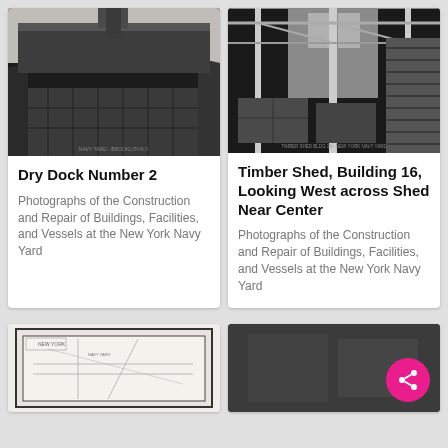[Figure (photo): Black and white photograph of Dry Dock Number 2, looking along the dock with a large vessel hull visible and workers on the dock floor]
[Figure (photo): Black and white photograph of interior of Timber Shed, Building 16, looking west across the shed near center, showing wooden posts and stacked lumber]
Dry Dock Number 2
Photographs of the Construction and Repair of Buildings, Facilities, and Vessels at the New York Navy Yard
Timber Shed, Building 16, Looking West across Shed Near Center
Photographs of the Construction and Repair of Buildings, Facilities, and Vessels at the New York Navy Yard
[Figure (photo): Black and white photograph showing a map or architectural plan document]
[Figure (photo): Black and white photograph, blurry/dark subject]